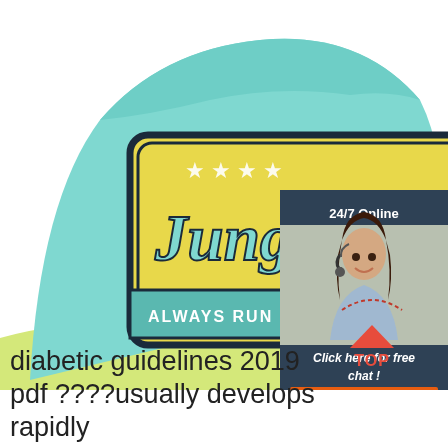[Figure (photo): Close-up photo of a mint green and yellow trucker cap with an embroidered patch logo reading 'JungCrew' and 'ALWAYS RUN UNTIL YOU MEET...' on a yellow background with stars. Overlaid in the top-right corner is an advertisement panel with a dark blue background showing '24/7 Online', a photo of a smiling woman with a headset, text 'Click here for free chat!' and an orange 'QUOTATION' button. A red 'TOP' arrow icon appears at the bottom right of the photo area.]
diabetic guidelines 2019 pdf ????usually develops rapidly